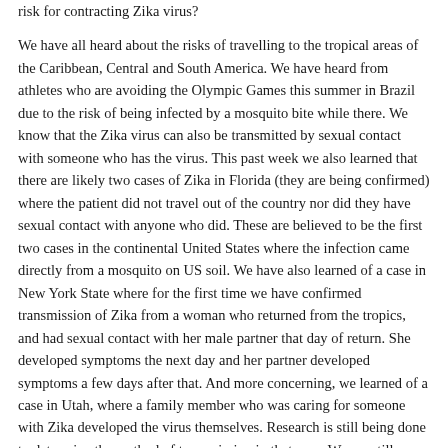risk for contracting Zika virus?
We have all heard about the risks of travelling to the tropical areas of the Caribbean, Central and South America.  We have heard from athletes who are avoiding the Olympic Games this summer in Brazil due to the risk of being infected by a mosquito bite while there.  We know that the Zika virus can also be transmitted by sexual contact with someone who has the virus.  This past week we also learned that there are likely two cases of Zika in Florida (they are being confirmed) where the patient did not travel out of the country nor did they have sexual contact with anyone who did.  These are believed to be the first two cases in the continental United States where the infection came directly from a mosquito on US soil.  We have also learned of a case in New York State where for the first time we have confirmed transmission of Zika from a woman who returned from the tropics, and had sexual contact with her male partner that day of return. She developed symptoms the next day and her partner developed symptoms a few days after that.  And more concerning, we learned of a case in Utah, where a family member who was caring for someone with Zika developed the virus themselves.  Research is still being done to determine the method of transmission in that case.  We are still learning